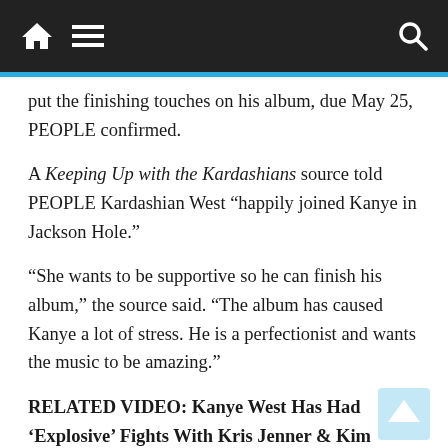Navigation bar with home, menu, and search icons
put the finishing touches on his album, due May 25, PEOPLE confirmed.
A Keeping Up with the Kardashians source told PEOPLE Kardashian West “happily joined Kanye in Jackson Hole.”
“She wants to be supportive so he can finish his album,” the source said. “The album has caused Kanye a lot of stress. He is a perfectionist and wants the music to be amazing.”
RELATED VIDEO: Kanye West Has Had ‘Explosive’ Fights With Kris Jenner & Kim Kardashian Can’t ‘Control’ Him: Sources
“Kim is absolutely concerned about Kanye,” the insider continued. “She likes being in Jackson Hole so she can keep an eye on his health. She wants to make sure he